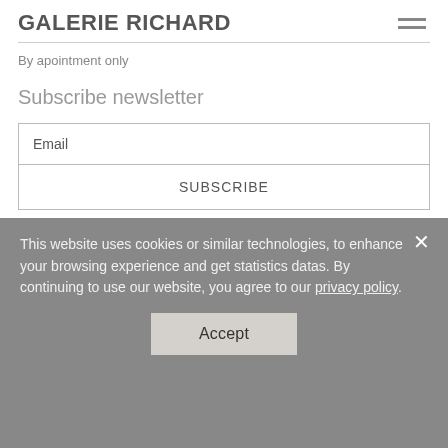GALERIE RICHARD
By apointment only
Subscribe newsletter
Email
SUBSCRIBE
This website uses cookies or similar technologies, to enhance your browsing experience and get statistics datas. By continuing to use our website, you agree to our privacy policy.
Accept